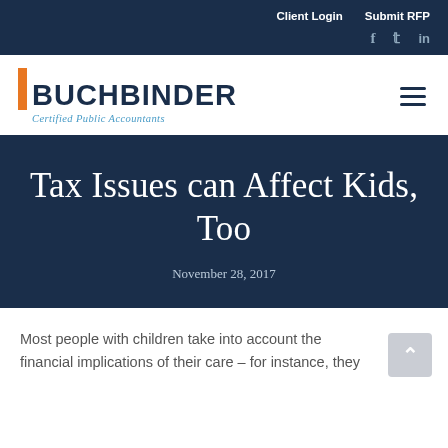Client Login   Submit RFP
[Figure (logo): Buchbinder Certified Public Accountants logo with orange accent bar and dark navy wordmark]
Tax Issues can Affect Kids, Too
November 28, 2017
Most people with children take into account the financial implications of their care – for instance, they